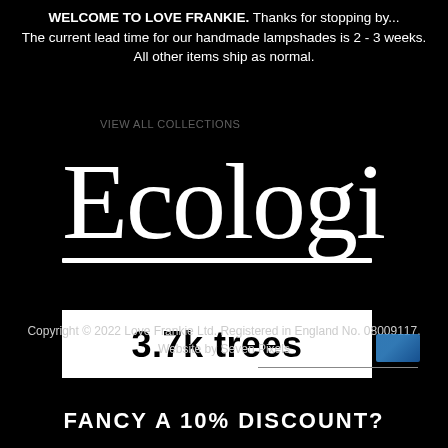WELCOME TO LOVE FRANKIE. Thanks for stopping by... The current lead time for our handmade lampshades is 2 - 3 weeks. All other items ship as normal.
VIEW ALL COLLECTIONS
[Figure (logo): Ecologi logo in white script font with double underline, on black background, followed by a white rectangle containing '3.7k trees' in bold black text]
Copyright © 2022 Love Frankie Ltd. Registered in England No. 08009117. Website by Seven Pixels
FANCY A 10% DISCOUNT?